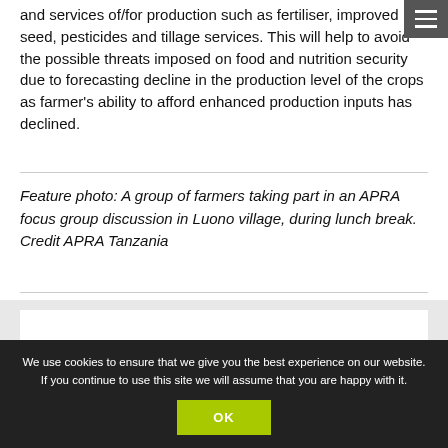and services of/for production such as fertiliser, improved seed, pesticides and tillage services. This will help to avoid the possible threats imposed on food and nutrition security due to forecasting decline in the production level of the crops as farmer's ability to afford enhanced production inputs has declined.
Feature photo: A group of farmers taking part in an APRA focus group discussion in Luono village, during lunch break. Credit APRA Tanzania
We use cookies to ensure that we give you the best experience on our website. If you continue to use this site we will assume that you are happy with it.